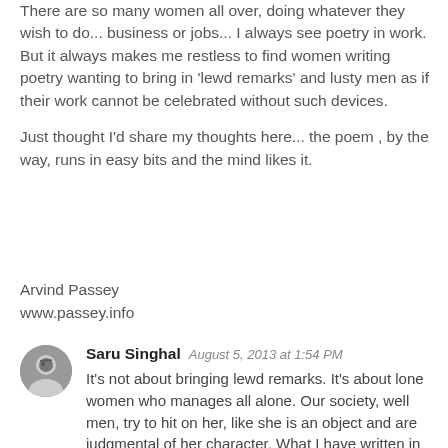There are so many women all over, doing whatever they wish to do... business or jobs... I always see poetry in work. But it always makes me restless to find women writing poetry wanting to bring in 'lewd remarks' and lusty men as if their work cannot be celebrated without such devices.

Just thought I'd share my thoughts here... the poem , by the way, runs in easy bits and the mind likes it.
Arvind Passey
www.passey.info
Saru Singhal  August 5, 2013 at 1:54 PM
It's not about bringing lewd remarks. It's about lone women who manages all alone. Our society, well men, try to hit on her, like she is an object and are judgmental of her character. What I have written in the poem is what I witnessed once. This poem is an expression of what I felt that very moment.